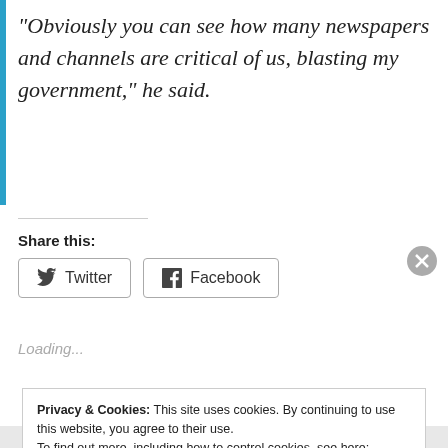“Obviously you can see how many newspapers and channels are critical of us, blasting my government,” he said.
Share this:
[Figure (other): Twitter and Facebook share buttons]
Loading...
Privacy & Cookies: This site uses cookies. By continuing to use this website, you agree to their use.
To find out more, including how to control cookies, see here: Cookie Policy
Close and accept